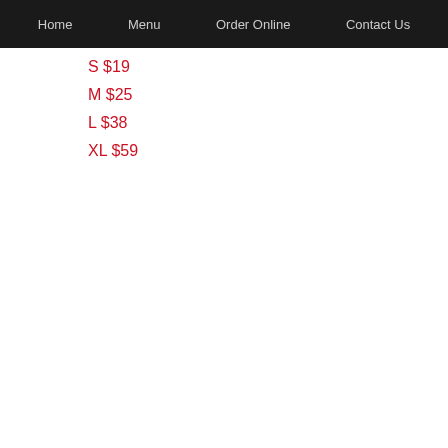Home  Menu  Order Online  Contact Us
S $19
M $25
L $38
XL $59